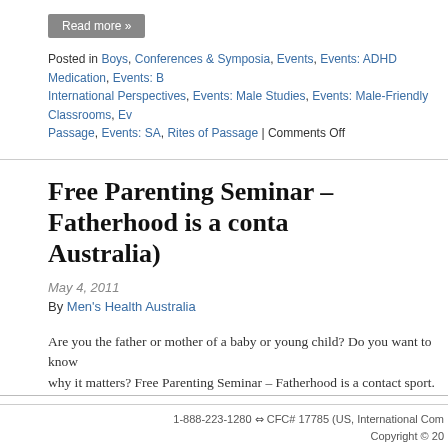Read more »
Posted in Boys, Conferences & Symposia, Events, Events: ADHD Medication, Events: B... International Perspectives, Events: Male Studies, Events: Male-Friendly Classrooms, Ev... Passage, Events: SA, Rites of Passage | Comments Off
Free Parenting Seminar – Fatherhood is a conta... Australia)
May 4, 2011
By Men's Health Australia
Are you the father or mother of a baby or young child? Do you want to know... why it matters? Free Parenting Seminar – Fatherhood is a contact sport. Con... of 'The Dad Fact...
Read more »
Posted in Boys, Boys' Education, Boys' Health, Events, Events: Boys, Events: Boys' Edu... Events: Raising Children, Events: SA, Fathers, Raising Children | Comments Off
1-888-223-1280 ⇔ CFC# 17785 (US, International Com... Copyright © 20...